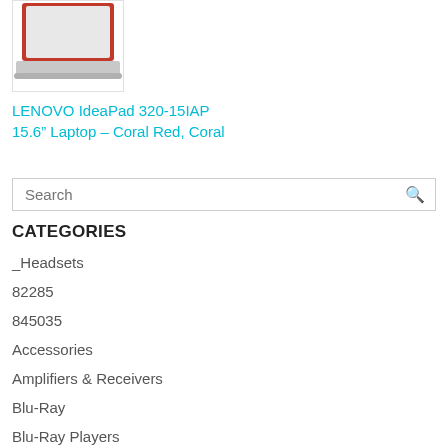[Figure (photo): Partial image of a red Lenovo laptop (lid visible) on white background]
LENOVO IdeaPad 320-15IAP 15.6" Laptop – Coral Red, Coral
Search
CATEGORIES
_Headsets
82285
845035
Accessories
Amplifiers & Receivers
Blu-Ray
Blu-Ray Players